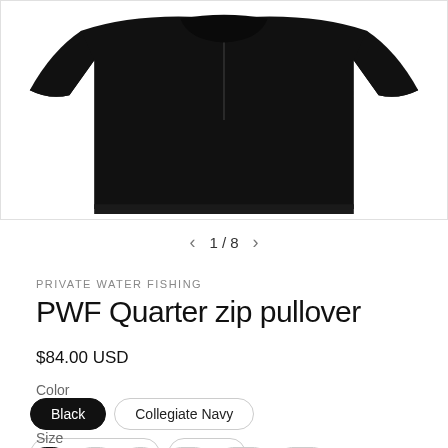[Figure (photo): Product photo of a black quarter zip pullover hoodie on white background, showing the upper portion folded/laid flat]
1 / 8
PRIVATE WATER FISHING
PWF Quarter zip pullover
$84.00 USD
Color
Black
Collegiate Navy
Black Heather
White
Size
S
M
L
XL
4XL
2XL